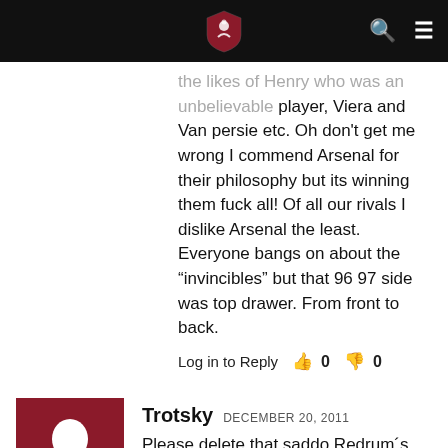BURY NEWS (logo/header bar)
the likes of Henry who was an unbelievable player, Viera and Van persie etc. Oh don't get me wrong I commend Arsenal for their philosophy but its winning them fuck all! Of all our rivals I dislike Arsenal the least. Everyone bangs on about the “invincibles” but that 96 97 side was top drawer. From front to back.
Log in to Reply  👍 0  👎 0
Trotsky  DECEMBER 20, 2011
Please delete that saddo Redrum´s comment from this thread.
I doubt he is a United red anyway.
Log in to Reply  👍 0  👎 0